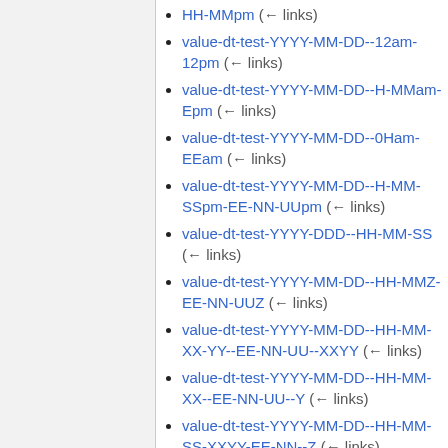HH-MMpm (← links)
value-dt-test-YYYY-MM-DD--12am-12pm (← links)
value-dt-test-YYYY-MM-DD--H-MMam-Epm (← links)
value-dt-test-YYYY-MM-DD--0Ham-EEam (← links)
value-dt-test-YYYY-MM-DD--H-MM-SSpm-EE-NN-UUpm (← links)
value-dt-test-YYYY-DDD--HH-MM-SS (← links)
value-dt-test-YYYY-MM-DD--HH-MMZ-EE-NN-UUZ (← links)
value-dt-test-YYYY-MM-DD--HH-MM-XX-YY--EE-NN-UU--XXYY (← links)
value-dt-test-YYYY-MM-DD--HH-MM-XX--EE-NN-UU--Y (← links)
value-dt-test-YYYY-MM-DD--HH-MM-SS-XXYY-EE-NN--Z (← links)